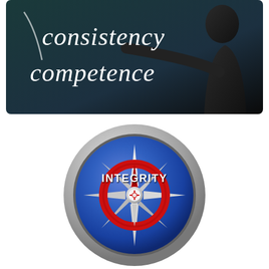[Figure (illustration): Dark teal/blackboard background with handwritten white cursive text reading 'consistency competence', with a partial silhouette of a person on the right side.]
[Figure (illustration): A compass icon with a silver/grey metallic outer ring, blue inner circle, and a compass rose with red and white needle pointing upward. The word INTEGRITY is written in bold white text across the upper portion of the compass face.]